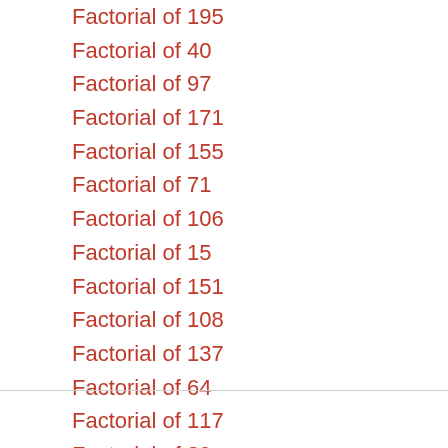Factorial of 195
Factorial of 40
Factorial of 97
Factorial of 171
Factorial of 155
Factorial of 71
Factorial of 106
Factorial of 15
Factorial of 151
Factorial of 108
Factorial of 137
Factorial of 64
Factorial of 117
Factorial of 89
Factorial of 197
Factorial of 133
Factorial of 140